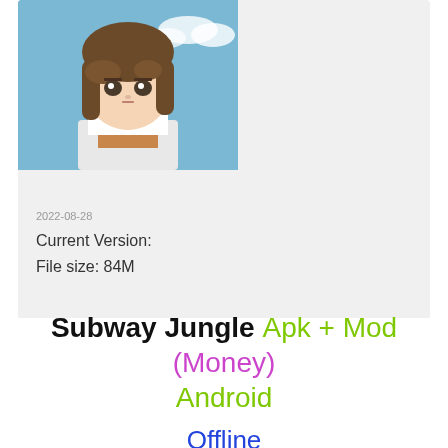[Figure (illustration): Anime character with brown hair against a blue sky background, wearing a white and brown outfit]
2022-08-28
Current Version:
File size: 84M
Subway Jungle Apk + Mod (Money) Android
Offline